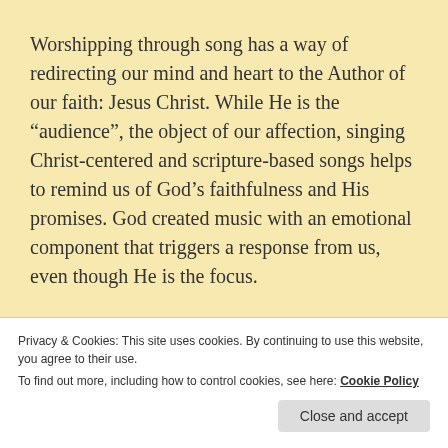Worshipping through song has a way of redirecting our mind and heart to the Author of our faith: Jesus Christ.  While He is the “audience”, the object of our affection, singing Christ-centered and scripture-based songs helps to remind us of God’s faithfulness and His promises.  God created music with an emotional component that triggers a response from us, even though He is the focus.
It’s been quite a while since I’ve played the few chords I know on the guitar, so what we have done is
Privacy & Cookies: This site uses cookies. By continuing to use this website, you agree to their use.
To find out more, including how to control cookies, see here: Cookie Policy